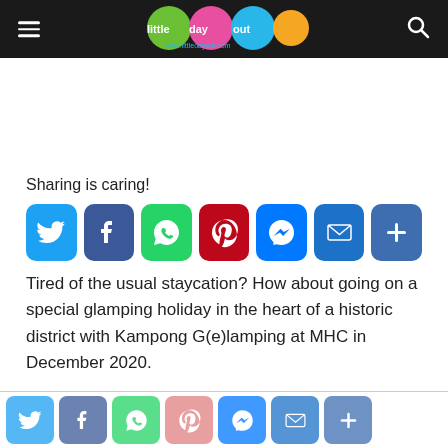little day out — www.littledayout.com
Sharing is caring!
[Figure (infographic): Row of social sharing icon buttons: Twitter, Facebook, WhatsApp, Pinterest, Messenger, Email, More]
Tired of the usual staycation? How about going on a special glamping holiday in the heart of a historic district with Kampong G(e)lamping at MHC in December 2020.
[Figure (infographic): Bottom sticky bar with social sharing icons: Twitter, Facebook, WhatsApp, Pinterest, Messenger, Email, More (semi-transparent)]